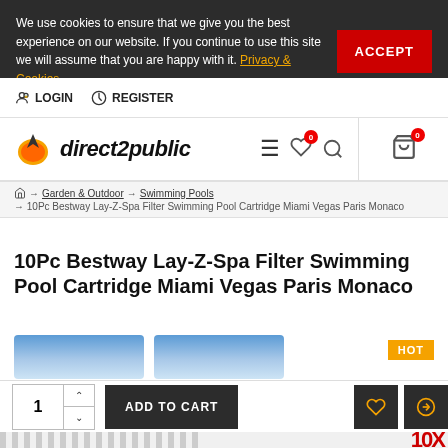We use cookies to ensure that we give you the best experience on our website. If you continue to use this site we will assume that you are happy with it. Privacy & Cookies
ACCEPT
LOGIN
REGISTER
[Figure (logo): direct2public logo with orange flame icon]
Garden & Outdoor → Swimming Pools → 10Pc Bestway Lay-Z-Spa Filter Swimming Pool Cartridge Miami Vegas Paris Monaco
10Pc Bestway Lay-Z-Spa Filter Swimming Pool Cartridge Miami Vegas Paris Monaco
[Figure (photo): Product images of blue swimming pool filter cartridges with HOT badge]
1 ADD TO CART